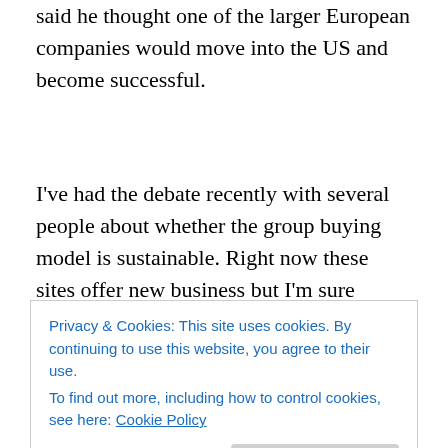said he thought one of the larger European companies would move into the US and become successful.
I've had the debate recently with several people about whether the group buying model is sustainable. Right now these sites offer new business but I'm sure they'll expand into CRM or loyalty programs over time as well. I suspect the model is sustainable although it will need to evolve
Privacy & Cookies: This site uses cookies. By continuing to use this website, you agree to their use.
To find out more, including how to control cookies, see here: Cookie Policy
cannot and so there will be consolidation and/or M&A